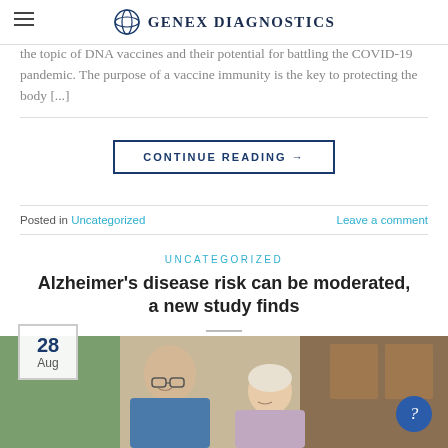Genex Diagnostics
the topic of DNA vaccines and their potential for battling the COVID-19 pandemic. The purpose of a vaccine immunity is the key to protecting the body [...]
CONTINUE READING →
Posted in Uncategorized   Leave a comment
UNCATEGORIZED
Alzheimer's disease risk can be moderated, a new study finds
POSTED ON AUGUST 28, 2020 BY EDITOR
[Figure (photo): Two elderly people smiling, outdoors, partial view]